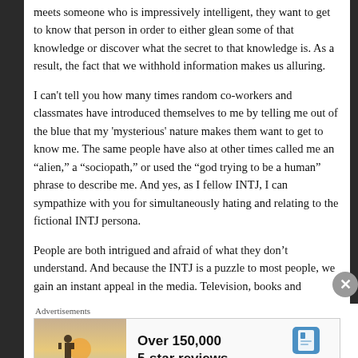meets someone who is impressively intelligent, they want to get to know that person in order to either glean some of that knowledge or discover what the secret to that knowledge is. As a result, the fact that we withhold information makes us alluring.
I can't tell you how many times random co-workers and classmates have introduced themselves to me by telling me out of the blue that my 'mysterious' nature makes them want to get to know me. The same people have also at other times called me an “alien,” a “sociopath,” or used the “god trying to be a human” phrase to describe me. And yes, as I fellow INTJ, I can sympathize with you for simultaneously hating and relating to the fictional INTJ persona.
People are both intrigued and afraid of what they don’t understand. And because the INTJ is a puzzle to most people, we gain an instant appeal in the media. Television, books and
Advertisements
[Figure (photo): Advertisement for Day One Journal app showing a person photographing a sunset, with text 'Over 150,000 5-star reviews' and the Day One Journal logo.]